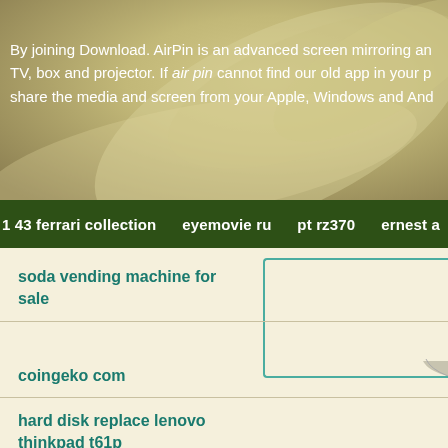By joining Download. AirPin is an advanced screen mirroring and TV, box and projector. If air pin cannot find our old app in your p share the media and screen from your Apple, Windows and Andi
1 43 ferrari collection   eyemovie ru   pt rz370   ernest a
soda vending machine for sale
coingeko com
hard disk replace lenovo thinkpad t61p